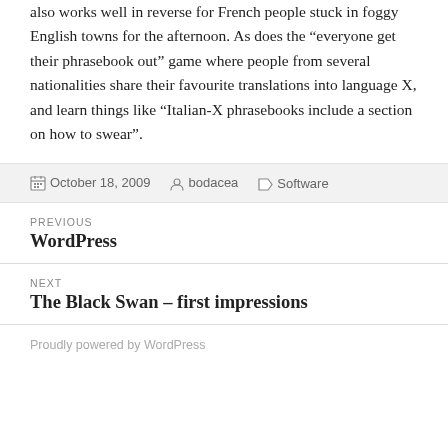also works well in reverse for French people stuck in foggy English towns for the afternoon. As does the “everyone get their phrasebook out” game where people from several nationalities share their favourite translations into language X, and learn things like “Italian-X phrasebooks include a section on how to swear”.
October 18, 2009  bodacea  Software
PREVIOUS
WordPress
NEXT
The Black Swan – first impressions
Proudly powered by WordPress